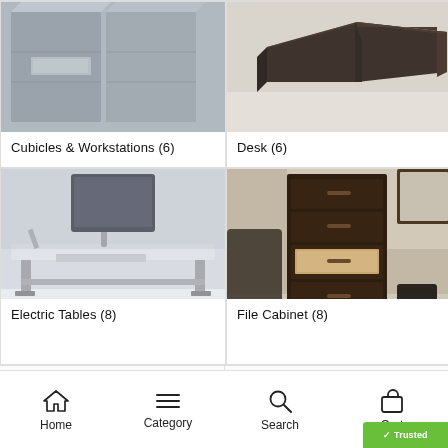[Figure (photo): Cubicles and workstations office furniture photo - gray modular panels and cabinets]
Cubicles & Workstations (6)
[Figure (photo): Modern dark wood executive desk photo]
Desk (6)
[Figure (photo): Electric height-adjustable standing desk with monitor arm, silver metallic frame]
Electric Tables (8)
[Figure (photo): Dark espresso wood file cabinet with four drawers, one drawer open showing files]
File Cabinet (8)
Home  Category  Search  Cart